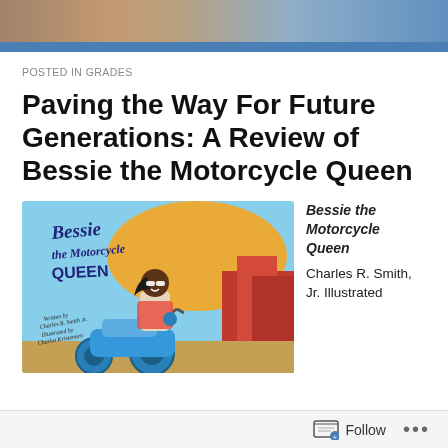[Figure (photo): Header image showing a partial view of a bookshelf or similar background with a blue horizontal bar below]
POSTED IN GRADES
Paving the Way For Future Generations: A Review of Bessie the Motorcycle Queen
[Figure (illustration): Book cover of 'Bessie the Motorcycle Queen' showing an illustrated Black woman with sunglasses on a blue motorcycle against a desert landscape background with orange/red rock formations. Text reads 'Bessie the Motorcycle Queen. Written by Charles R. Smith Jr. Illustrated by Charlot Kristensen']
Bessie the Motorcycle Queen Charles R. Smith, Jr. Illustrated
Follow ...